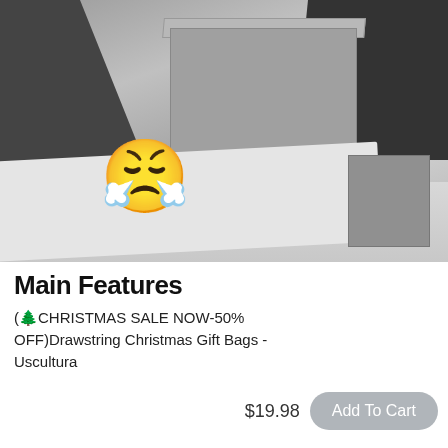[Figure (photo): Black and white photo of a person wrapping or handling a large cardboard box on a table with paper, with an angry/crying emoji overlaid on the image]
Main Features
(🌲CHRISTMAS SALE NOW-50% OFF)Drawstring Christmas Gift Bags - Uscultura
$19.98
Add To Cart